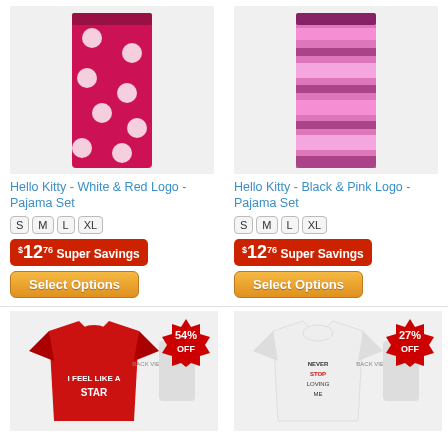[Figure (photo): Hello Kitty White & Red Logo Pajama pants, red with white Hello Kitty faces pattern]
[Figure (photo): Hello Kitty Black & Pink Logo Pajama pants, pink/magenta striped with Hello Kitty pattern]
Hello Kitty - White & Red Logo - Pajama Set
Hello Kitty - Black & Pink Logo - Pajama Set
$12.76 Super Savings
$12.76 Super Savings
Select Options
Select Options
[Figure (photo): Red Hello Kitty t-shirt with 'I Feel Like A Star' text, 54% OFF badge]
[Figure (photo): White Hello Kitty t-shirt with 'Never Stop Loving Me' text, 27% OFF badge]